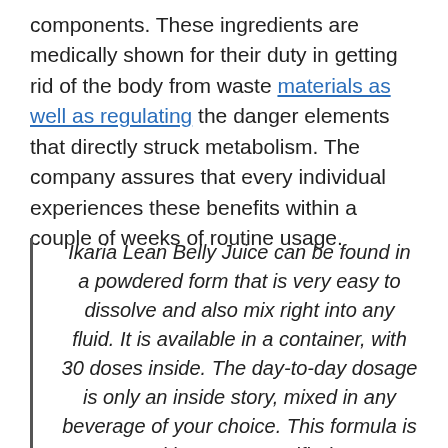components. These ingredients are medically shown for their duty in getting rid of the body from waste materials as well as regulating the danger elements that directly struck metabolism. The company assures that every individual experiences these benefits within a couple of weeks of routine usage.
Ikaria Lean Belly Juice can be found in a powdered form that is very easy to dissolve and also mix right into any fluid. It is available in a container, with 30 doses inside. The day-to-day dosage is only an inside story, mixed in any beverage of your choice. This formula is prepared in a GMP-certified center utilizing contemporary devices and also equipment.